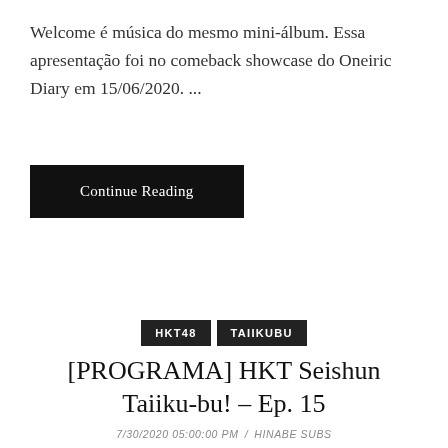Welcome é música do mesmo mini-álbum. Essa apresentação foi no comeback showcase do Oneiric Diary em 15/06/2020. ...
Continue Reading
HKT48  TAIIKUBU
[PROGRAMA] HKT Seishun Taiiku-bu! – Ep. 15
7/30/2020 05:00:00 PM / HINABE SUBS
[Figure (photo): Group photo of people in an indoor sports facility]